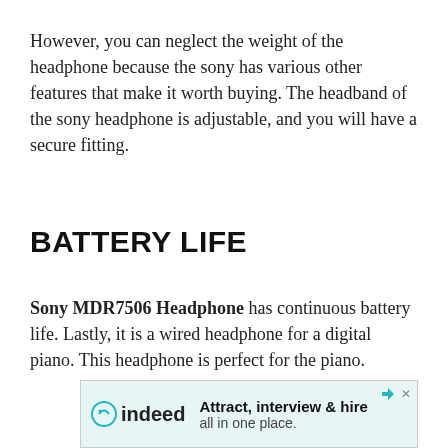However, you can neglect the weight of the headphone because the sony has various other features that make it worth buying. The headband of the sony headphone is adjustable, and you will have a secure fitting.
BATTERY LIFE
Sony MDR7506 Headphone has continuous battery life. Lastly, it is a wired headphone for a digital piano. This headphone is perfect for the piano.
[Figure (other): indeed.com advertisement banner: 'Attract, interview & hire all in one place.']